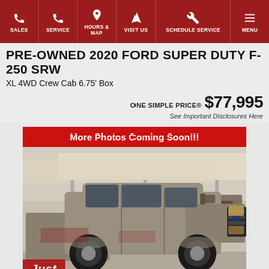SALES | SERVICE | HOURS & MAP | VISIT US | SCHEDULE SERVICE | MENU
PRE-OWNED 2020 FORD SUPER DUTY F-250 SRW
XL 4WD Crew Cab 6.75' Box
ONE SIMPLE PRICE® $77,995
See Important Disclosures Here
[Figure (photo): Red banner reading 'More Photos Coming Soon!!!' above a photo of a gray 2020 Ford Super Duty F-250 truck parked under a canopy at a dealership lot. Other vehicles are visible in the background. The bottom-left shows a partial red/italic 'Just' text overlay.]